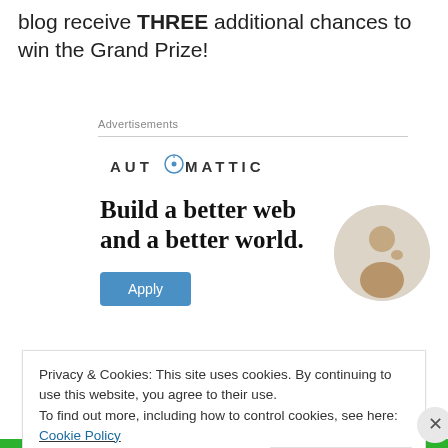blog receive THREE additional chances to win the Grand Prize!
Advertisements
[Figure (logo): Automattic logo with compass icon replacing the letter O]
[Figure (infographic): Automattic advertisement: 'Build a better web and a better world.' with an Apply button and a circular photo of a man thinking]
Privacy & Cookies: This site uses cookies. By continuing to use this website, you agree to their use.
To find out more, including how to control cookies, see here: Cookie Policy